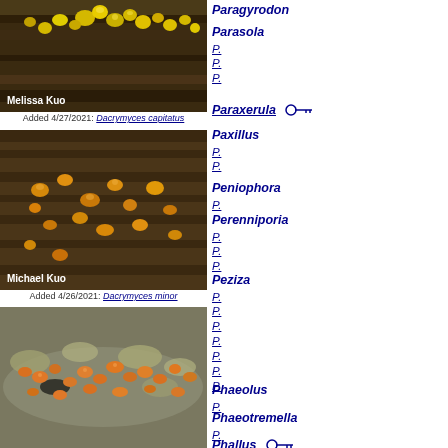[Figure (photo): Close-up photo of small yellow fungal fruiting bodies (Dacrymyces capitatus) growing on dark wood, photographer credit: Melissa Kuo]
Added 4/27/2021: Dacrymyces capitatus
[Figure (photo): Close-up photo of small orange-yellow fungal fruiting bodies (Dacrymyces minor) scattered on dark wood grain, photographer credit: Michael Kuo]
Added 4/26/2021: Dacrymyces minor
[Figure (photo): Close-up photo of small orange fungal fruiting bodies clustered on a lichen-covered branch]
Paragyrodon  P.
Parasola  P.
P.
P.
Paraxerula [key]  P.
Paxillus  P.
P.
Peniophora  P.
Perenniporia  P.
P.
P.
Peziza  P.
P.
P.
P.
P.
P.
P.
Phaeolus  P.
Phaeotremella  P.
Phallus [key]  P.